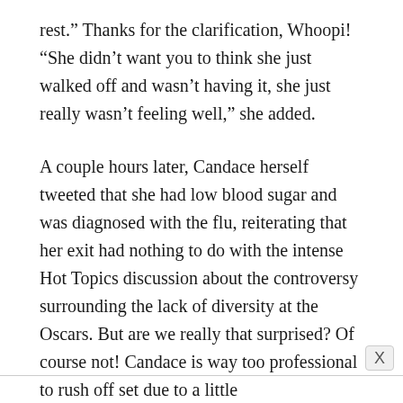rest.” Thanks for the clarification, Whoopi! “She didn’t want you to think she just walked off and wasn’t having it, she just really wasn’t feeling well,” she added.
A couple hours later, Candace herself tweeted that she had low blood sugar and was diagnosed with the flu, reiterating that her exit had nothing to do with the intense Hot Topics discussion about the controversy surrounding the lack of diversity at the Oscars. But are we really that surprised? Of course not! Candace is way too professional to rush off set due to a little